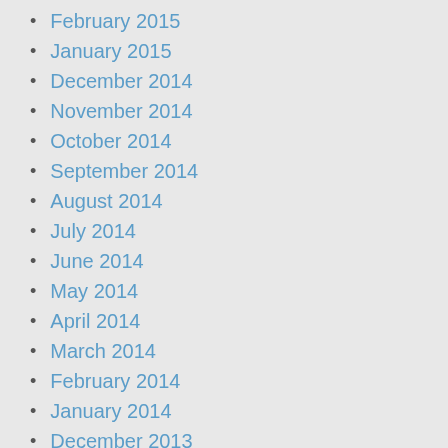February 2015
January 2015
December 2014
November 2014
October 2014
September 2014
August 2014
July 2014
June 2014
May 2014
April 2014
March 2014
February 2014
January 2014
December 2013
November 2013
October 2013
September 2013
August 2013
July 2013
June 2013